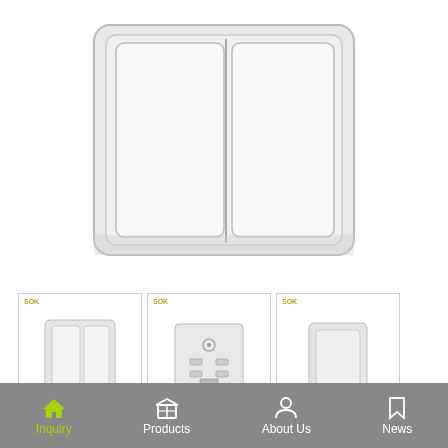[Figure (photo): Large white 2-gang 1-way surface mounted light switch product photo on white background]
[Figure (photo): Thumbnail 1: Front view of 2-gang light switch, white, with SOK label]
[Figure (photo): Thumbnail 2: Back/internal view of switch module with terminals, SOK label]
[Figure (photo): Thumbnail 3: Side/angled view of single-gang switch, SOK label]
2 Gang 1 Way Light Switch (Surface Mounted)
Inquiry
Inquiry  Products  About Us  News